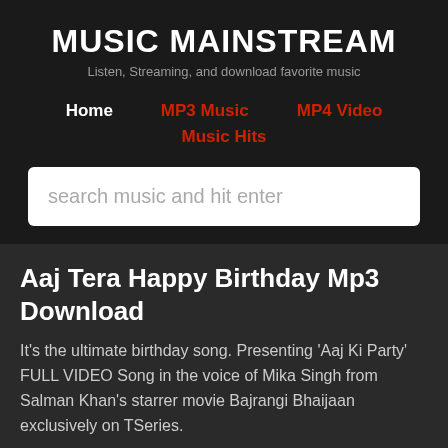MUSIC MAINSTREAM
Listen, Streaming, and download favorite music
Home | MP3 Music | MP4 Video | Music Hits
search music and hit enter
Aaj Tera Happy Birthday Mp3 Download
It's the ultimate birthday song. Presenting 'Aaj Ki Party' FULL VIDEO Song in the voice of Mika Singh from Salman Khan's starrer movie Bajrangi Bhaijaan exclusively on TSeries.